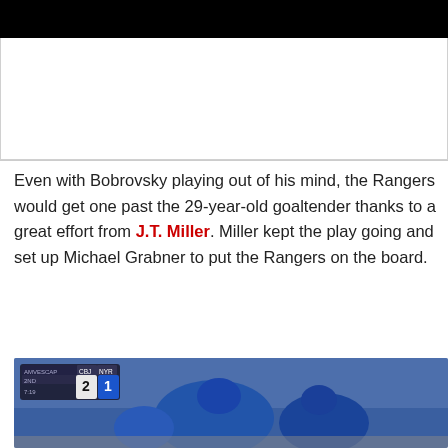[Figure (screenshot): Video player screenshot with black top bar and white/light gray content area below, representing an embedded video]
Even with Bobrovsky playing out of his mind, the Rangers would get one past the 29-year-old goaltender thanks to a great effort from J.T. Miller. Miller kept the play going and set up Michael Grabner to put the Rangers on the board.
[Figure (screenshot): Hockey game broadcast screenshot showing scoreboard overlay with CBJ 2, NYR 1 in the 2nd period at 7:19, with players in blue Rangers jerseys huddled on ice]